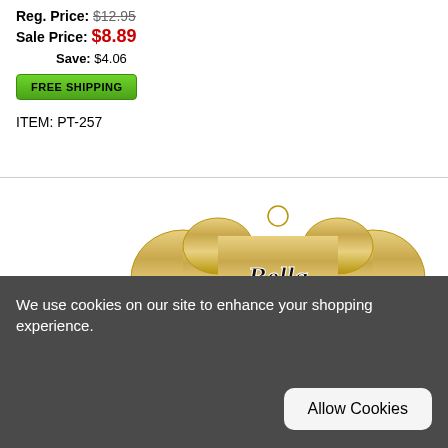Reg. Price: $12.95
Sale Price: $8.89
Save: $4.06
FREE SHIPPING
ITEM: PT-257
[Figure (photo): Gold bone-shaped pet ID tags. The main large tag reads 'Bella' in script with '336-555-1212' below it. Two smaller bone tags are partially visible beneath.]
We use cookies on our site to enhance your shopping experience.
Allow Cookies